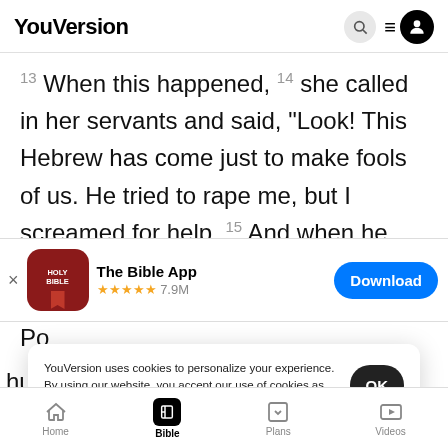YouVersion
13 When this happened, 14 she called in her servants and said, “Look! This Hebrew has come just to make fools of us. He tried to rape me, but I screamed for help. 15 And when he heard me
[Figure (screenshot): The Bible App banner with icon, 5-star rating showing 7.9M reviews, and Download button]
Po
husban
18
YouVersion uses cookies to personalize your experience. By using our website, you accept our use of cookies as described in our Privacy Policy.
Home | Bible | Plans | Videos